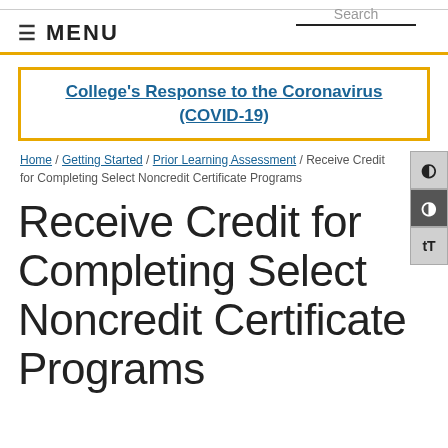Search
≡ MENU
College's Response to the Coronavirus (COVID-19)
Home / Getting Started / Prior Learning Assessment / Receive Credit for Completing Select Noncredit Certificate Programs
Receive Credit for Completing Select Noncredit Certificate Programs